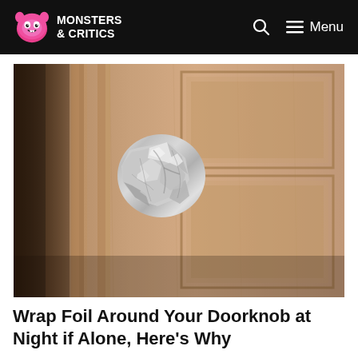Monsters & Critics — Menu
[Figure (photo): Close-up photo of a wooden door with a round doorknob wrapped in crumpled aluminum foil]
Wrap Foil Around Your Doorknob at Night if Alone, Here's Why